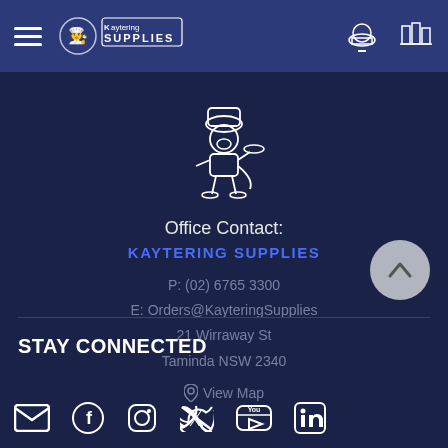Kaytering Supplies navigation header
[Figure (logo): Kaytering Supplies mascot logo — cartoon dog chef figure in white outline on dark navy background]
Office Contact:
KAYTERING SUPPLIES
P: (02) 6765 3300
E: Orders@KayteringSupplies
21 Wirraway St
Taminda NSW 2340
View Map
STAY CONNECTED
[Figure (infographic): Social media icons row: email, Facebook, Instagram, Twitter, YouTube, LinkedIn]